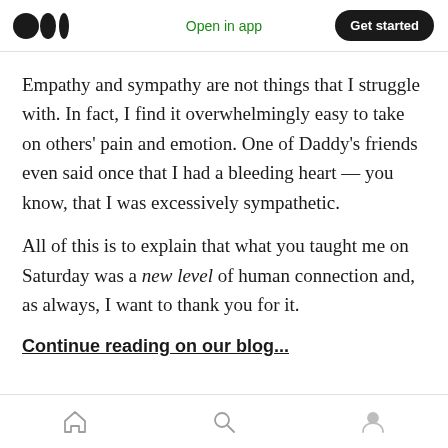Open in app | Get started
Empathy and sympathy are not things that I struggle with. In fact, I find it overwhelmingly easy to take on others' pain and emotion. One of Daddy's friends even said once that I had a bleeding heart — you know, that I was excessively sympathetic.
All of this is to explain that what you taught me on Saturday was a new level of human connection and, as always, I want to thank you for it.
Continue reading on our blog...
Home | Search | Profile